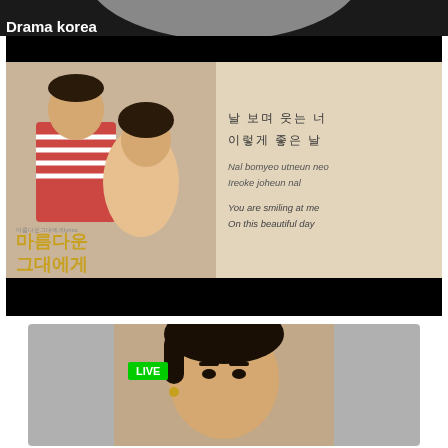[Figure (screenshot): Partial arc/profile picture at top of mobile app screen]
Drama korea
[Figure (screenshot): Korean drama thumbnail with couple photo on left and song lyrics on right. Korean text: 날 보며 웃는 너 이렇게 좋은 날. Romanization: Nal bomyeo utneun neo / Ireoke joheun nal. English: You are smiling at me / On this beautiful day. Drama title: 마름다운 그대에게]
[Figure (screenshot): Second video thumbnail showing a person's face with a green LIVE badge]